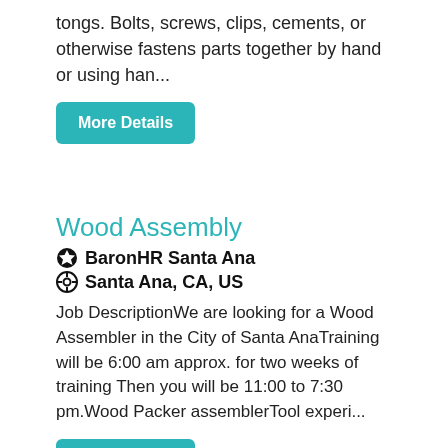tongs. Bolts, screws, clips, cements, or otherwise fastens parts together by hand or using han...
More Details
Wood Assembly
BarronHR Santa Ana
Santa Ana, CA, US
Job DescriptionWe are looking for a Wood Assembler in the City of Santa AnaTraining will be 6:00 am approx. for two weeks of training Then you will be 11:00 to 7:30 pm.Wood Packer assemblerTool experi...
More Details
Assembler NEW
Butler Aerospace and Defense
Buena Park, CA, US
Title : Assembler Location: Buena Park, CA (90620) JoB...